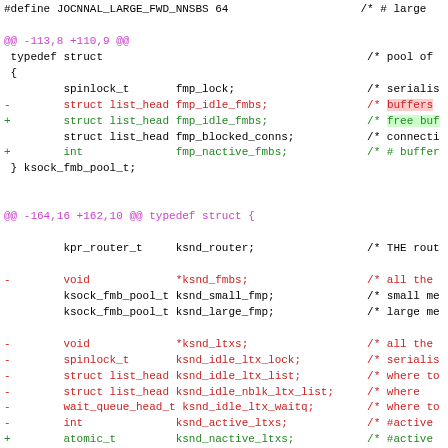#define JOCNNAL_LARGE_FWD_NNSBS 64   /* # large
@@ -113,8 +110,9 @@
 typedef struct                     /* pool of
 {
         spinlock_t       fmp_lock;       /* serialis
-        struct list_head fmp_idle_fmbs;  /* buffers
+        struct list_head fmp_idle_fmbs;  /* free buf
         struct list_head fmp_blocked_conns; /* connecti
+        int              fmp_nactive_fmbs; /* # buffer
 } ksock_fmb_pool_t;
@@ -164,16 +162,10 @@ typedef struct {

         kpr_router_t     ksnd_router;    /* THE rout

-        void             *ksnd_fmbs;     /* all the
         ksock_fmb_pool_t ksnd_small_fmp; /* small me
         ksock_fmb_pool_t ksnd_large_fmp; /* large me

-        void             *ksnd_ltxs;     /* all the
-        spinlock_t       ksnd_idle_ltx_lock; /* serialis
-        struct list_head ksnd_idle_ltx_list; /* where to
-        struct list_head ksnd_idle_nblk_ltx_list; /* where
-        wait_queue_head_t ksnd_idle_ltx_waitq; /* where to
-        int              ksnd_active_ltxs; /* #active
+        atomic_t         ksnd_nactive_ltxs; /* #active

         struct list_head ksnd_deathrow_conns; /* conns to
         struct list_head ksnd_zombie_conns;   /* conns to
@@ -233,25 +225,15 @@ typedef struct